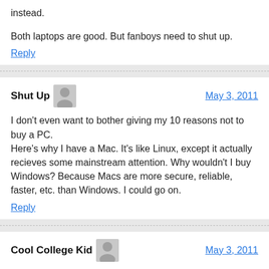instead.
Both laptops are good. But fanboys need to shut up.
Reply
Shut Up
May 3, 2011
I don't even want to bother giving my 10 reasons not to buy a PC.
Here's why I have a Mac. It's like Linux, except it actually recieves some mainstream attention. Why wouldn't I buy Windows? Because Macs are more secure, reliable, faster, etc. than Windows. I could go on.
Reply
Cool College Kid
May 3, 2011